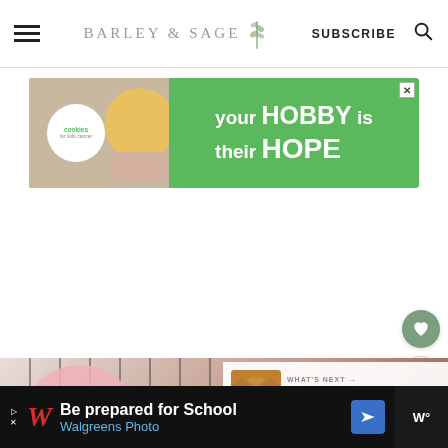BARLEY & SAGE — SUBSCRIBE
[Figure (screenshot): Advertisement banner: cookies for kids cancer — your HOBBY is their HOPE, green background with cookie image]
[Figure (photo): Food photography showing pink-glazed heart-shaped donuts or cookies on a wire cooling rack, with rose petals]
[Figure (screenshot): What's Next panel: Sourdough Donuts with... thumbnail of donuts]
[Figure (screenshot): Bottom advertisement bar: Walgreens Photo — Be prepared for School]